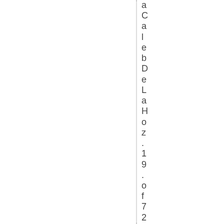a Caleb De La Hoz . 19 . of 724 North Pin